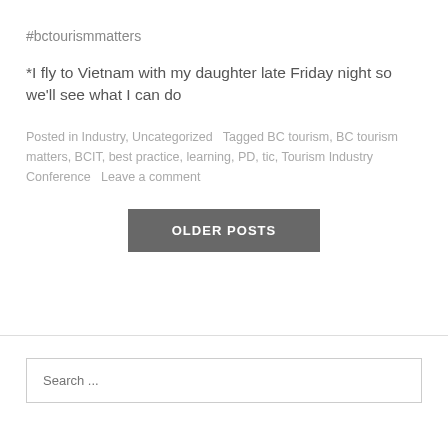#bctourismmatters
*I fly to Vietnam with my daughter late Friday night so we'll see what I can do
Posted in Industry, Uncategorized   Tagged BC tourism, BC tourism matters, BCIT, best practice, learning, PD, tic, Tourism Industry Conference   Leave a comment
OLDER POSTS
Search ...